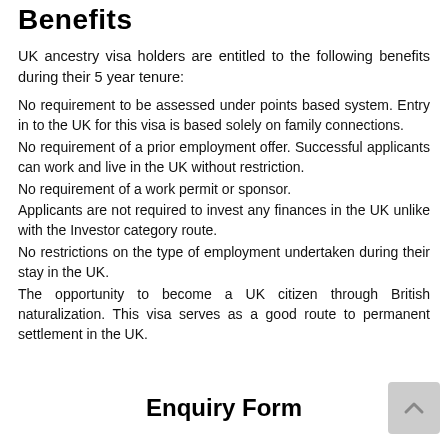Benefits
UK ancestry visa holders are entitled to the following benefits during their 5 year tenure:
No requirement to be assessed under points based system. Entry in to the UK for this visa is based solely on family connections.
No requirement of a prior employment offer. Successful applicants can work and live in the UK without restriction.
No requirement of a work permit or sponsor.
Applicants are not required to invest any finances in the UK unlike with the Investor category route.
No restrictions on the type of employment undertaken during their stay in the UK.
The opportunity to become a UK citizen through British naturalization. This visa serves as a good route to permanent settlement in the UK.
Enquiry Form